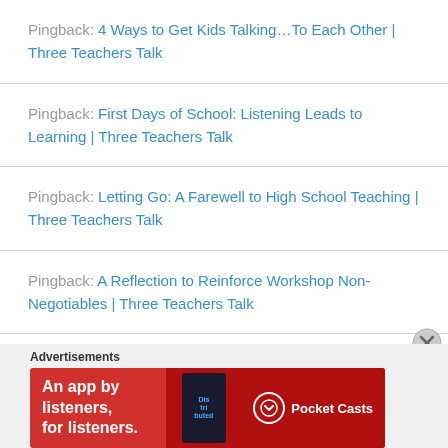Pingback: 4 Ways to Get Kids Talking…To Each Other | Three Teachers Talk
Pingback: First Days of School: Listening Leads to Learning | Three Teachers Talk
Pingback: Letting Go: A Farewell to High School Teaching | Three Teachers Talk
Pingback: A Reflection to Reinforce Workshop Non-Negotiables | Three Teachers Talk
[Figure (other): Pocket Casts advertisement banner: red background, text 'An app by listeners, for listeners.' with Pocket Casts logo and podcast app phone image]